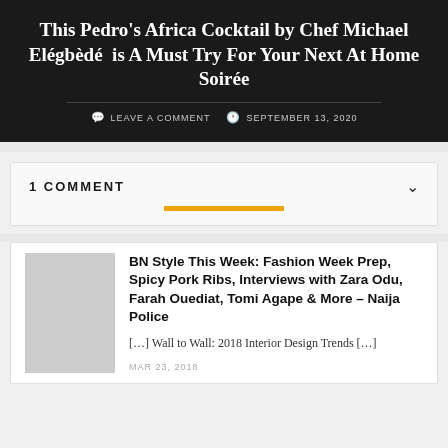This Pedro's Africa Cocktail by Chef Michael Elégbèdé  is A Must Try For Your Next At Home Soirée
LEAVE A COMMENT   SEPTEMBER 13, 2020
1 COMMENT
BN Style This Week: Fashion Week Prep, Spicy Pork Ribs, Interviews with Zara Odu, Farah Ouediat, Tomi Agape & More – Naija Police
[…] Wall to Wall: 2018 Interior Design Trends […]
MAR 23, 2018